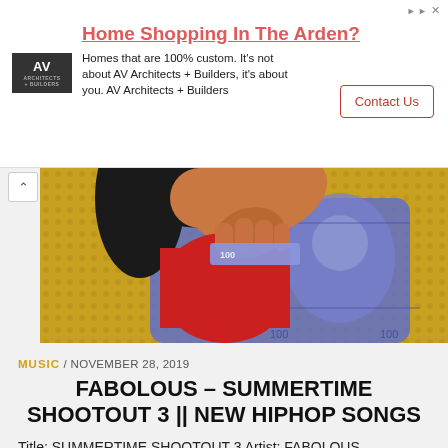[Figure (infographic): Advertisement banner: Home Shopping In The Arden? with AV Architects + Builders logo, contact us button, and ad text about custom homes.]
[Figure (illustration): Pop-art style illustration of a woman in red holding money (100 dollar bills) against a yellow dotted background.]
MUSIC / NOVEMBER 28, 2019
FABOLOUS – SUMMERTIME SHOOTOUT 3 || NEW HIPHOP SONGS
Title: SUMMERTIME SHOOTOUT 3 Artist: FABOLOUS
Album: SUMMERTIME SHOOTOUT 3 Genre: Hip-Hop
Comment: New HipHop Songs